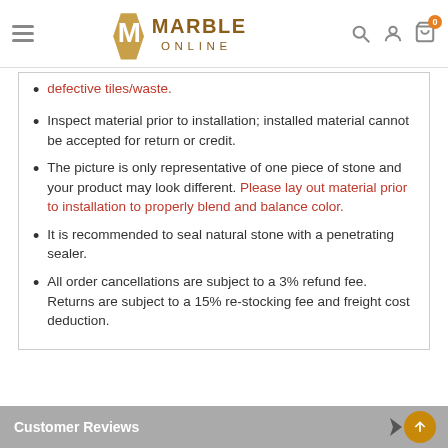Marble Online
defective tiles/waste.
Inspect material prior to installation; installed material cannot be accepted for return or credit.
The picture is only representative of one piece of stone and your product may look different. Please lay out material prior to installation to properly blend and balance color.
It is recommended to seal natural stone with a penetrating sealer.
All order cancellations are subject to a 3% refund fee. Returns are subject to a 15% re-stocking fee and freight cost deduction.
Customer Reviews